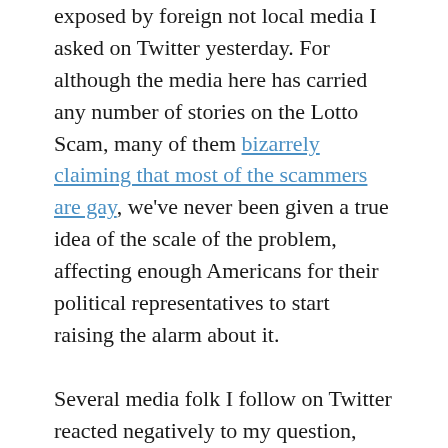exposed by foreign not local media I asked on Twitter yesterday. For although the media here has carried any number of stories on the Lotto Scam, many of them bizarrely claiming that most of the scammers are gay, we've never been given a true idea of the scale of the problem, affecting enough Americans for their political representatives to start raising the alarm about it.
Several media folk I follow on Twitter reacted negatively to my question, interpreting it as a slight or a claim that there had been no local media attention to the scam. It s true that there have been many stories about the Lotto scam here. To my mind however there's a qualitative difference in the way the story was